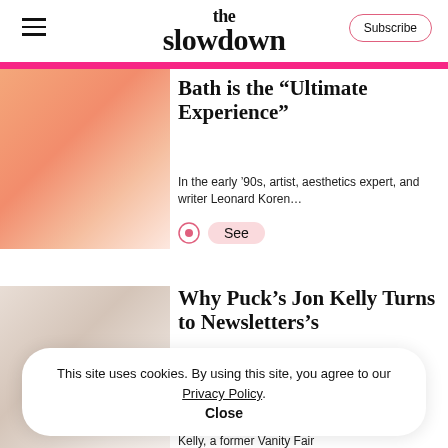the slowdown | Subscribe
Bath is the “Ultimate Experience”
In the early ’90s, artist, aesthetics expert, and writer Leonard Koren…
See
Why Puck’s Jon Kelly Turns to Newsletters
“Magazines may be a dying breed,” says Jon Kelly, a former Vanity Fair
This site uses cookies. By using this site, you agree to our Privacy Policy.
Close